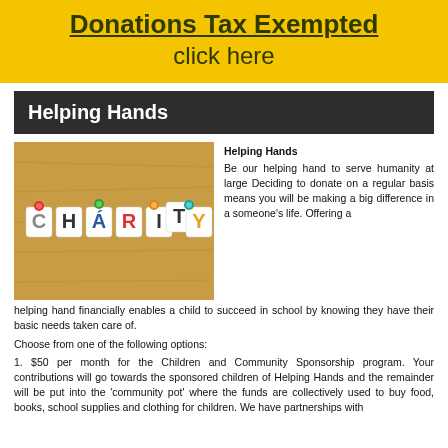Donations Tax Exempted
click here
Helping Hands
[Figure (photo): A corkboard with colorful letter tiles spelling out CHARITY, pinned with colored pushpins.]
Helping Hands
Be our helping hand to serve humanity at large Deciding to donate on a regular basis means you will be making a big difference in a someone's life. Offering a helping hand financially enables a child to succeed in school by knowing they have their basic needs taken care of.
Choose from one of the following options:
1. $50 per month for the Children and Community Sponsorship program. Your contributions will go towards the sponsored children of Helping Hands and the remainder will be put into the 'community pot' where the funds are collectively used to buy food, books, school supplies and clothing for children. We have partnerships with